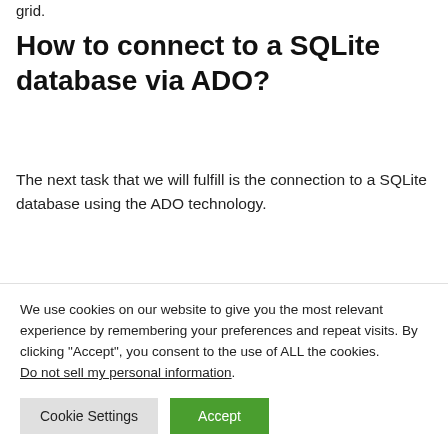grid.
How to connect to a SQLite database via ADO?
The next task that we will fulfill is the connection to a SQLite database using the ADO technology.
We will need the same component set that’s why we offer to continue working with an app, changing just the way of getting connected to a database.
We use cookies on our website to give you the most relevant experience by remembering your preferences and repeat visits. By clicking “Accept”, you consent to the use of ALL the cookies.
Do not sell my personal information.
Cookie Settings
Accept